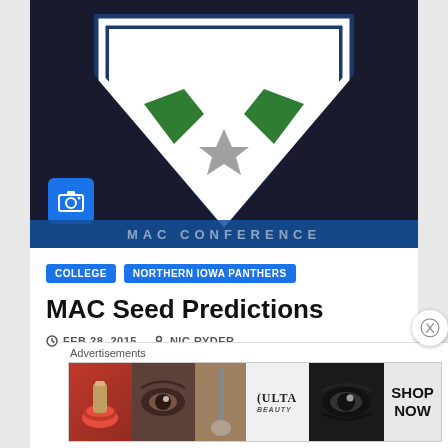[Figure (logo): MAC (Mid-American Conference) shield logo with navy blue background, green chevrons, gray star, and 'MAC' text in white stylized letters. Camera icon overlay in bottom left.]
COLLEGE
NORTHERN IOWA PANTHERS
MAC Seed Predictions
FEB 28, 2015   NIC RYDER
Advertisements
[Figure (photo): ULTA Beauty advertisement banner with makeup imagery and 'SHOP NOW' call to action]